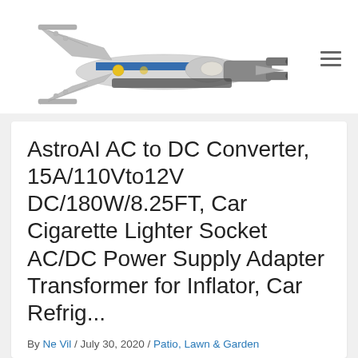[Figure (photo): A LEGO U-wing starfighter spaceship model, white and blue, viewed from a diagonal angle against a white background. Used as a website header logo/image.]
AstroAI AC to DC Converter, 15A/110Vto12V DC/180W/8.25FT, Car Cigarette Lighter Socket AC/DC Power Supply Adapter Transformer for Inflator, Car Refrig...
By Ne Vil / July 30, 2020 / Patio, Lawn & Garden